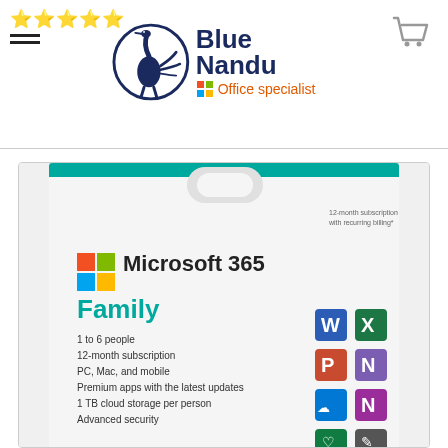[Figure (logo): Blue Nandu logo with ostrich in dark blue circle, 'Blue Nandu' text in dark navy, and 'Office specialist' in orange with Microsoft Office icon]
[Figure (photo): Microsoft 365 Family product box/card showing: Microsoft 365 logo with Windows squares icon, 'Family' in teal, features list: 1 to 6 people, 12-month subscription, PC Mac and mobile, Premium apps with the latest updates, 1 TB cloud storage per person, Advanced security. App icons for Word, Excel, PowerPoint, OneNote, OneDrive, OneNote on right side. Top right text: 12-month subscription with recurring billing*]